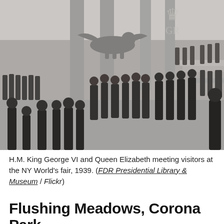[Figure (photo): Black and white historical photograph showing H.M. King George VI and Queen Elizabeth meeting visitors at the NY World's fair, 1939. A large interior hall with a winged lion sculpture overhead and a royal cypher (GR with crown) on the wall. Many people in formal attire are gathered, with uniformed officers lining the sides.]
H.M. King George VI and Queen Elizabeth meeting visitors at the NY World's fair, 1939. (FDR Presidential Library & Museum / Flickr)
Flushing Meadows, Corona Park